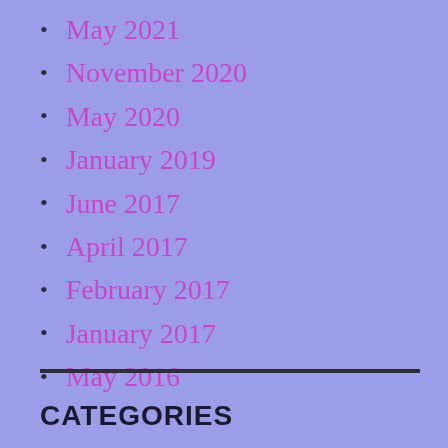May 2021
November 2020
May 2020
January 2019
June 2017
April 2017
February 2017
January 2017
May 2016
CATEGORIES